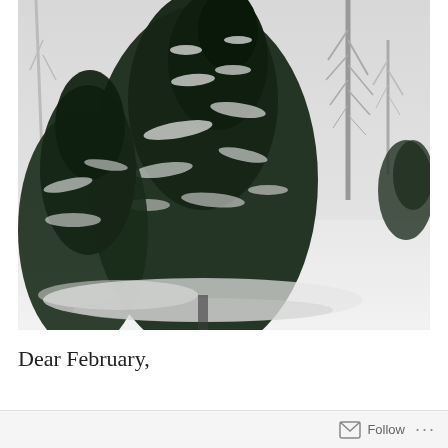[Figure (photo): Black and white photograph of snow-covered evergreen trees in a park or garden, with bare deciduous trees visible in the background and a snow-covered ground in the foreground.]
Dear February,
Follow